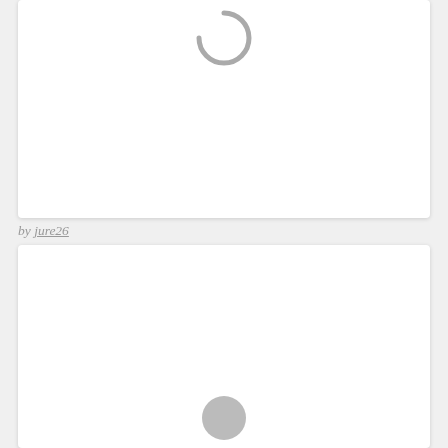[Figure (other): Loading spinner icon (partial arc, grey) at top of first card]
by jure26
[Figure (other): Loading spinner icon (partial arc, grey) at bottom of second card]